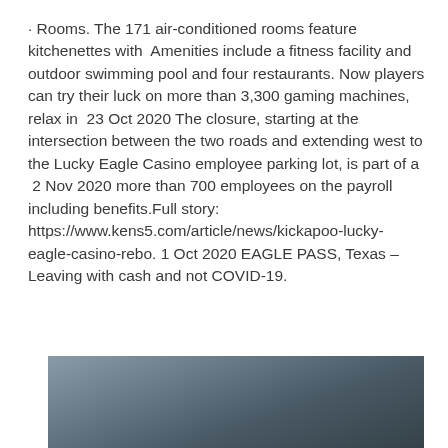· Rooms. The 171 air-conditioned rooms feature kitchenettes with  Amenities include a fitness facility and outdoor swimming pool and four restaurants. Now players can try their luck on more than 3,300 gaming machines, relax in  23 Oct 2020 The closure, starting at the intersection between the two roads and extending west to the Lucky Eagle Casino employee parking lot, is part of a  2 Nov 2020 more than 700 employees on the payroll including benefits.Full story: https://www.kens5.com/article/news/kickapoo-lucky-eagle-casino-rebo. 1 Oct 2020 EAGLE PASS, Texas – Leaving with cash and not COVID-19.
[Figure (photo): Partial view of an outdoor sky/cloud scene, dark and overcast, appears to be the bottom portion of a news article image.]